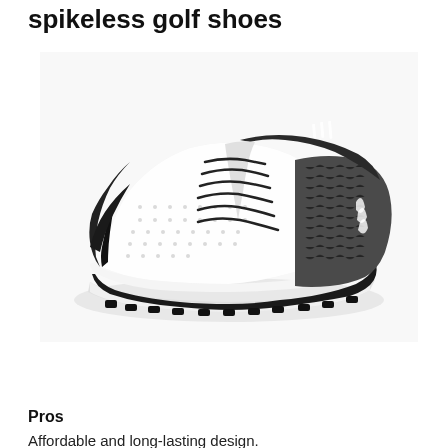spikeless golf shoes
[Figure (photo): Adidas spikeless golf shoe, white leather upper with dark gray knit heel panel, black outsole with spikeless traction lugs, white midsole, white laces]
Check Price on Amazon.com
Pros
Affordable and long-lasting design.